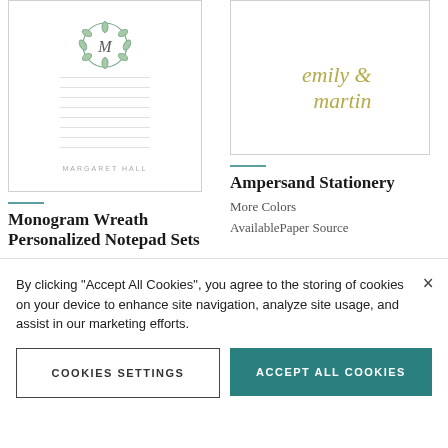[Figure (illustration): Monogram Wreath notepad product image showing a white notepad with a wreath and letter M at top, 'MARGARET HALL' text at bottom]
Monogram Wreath Personalized Notepad Sets
More Colors
AvailablePaper Source
[Figure (illustration): Ampersand Stationery product image showing a white card with 'emily & martin' in olive/gold script]
Ampersand Stationery
More Colors
AvailablePaper Source
By clicking "Accept All Cookies", you agree to the storing of cookies on your device to enhance site navigation, analyze site usage, and assist in our marketing efforts.
COOKIES SETTINGS
ACCEPT ALL COOKIES